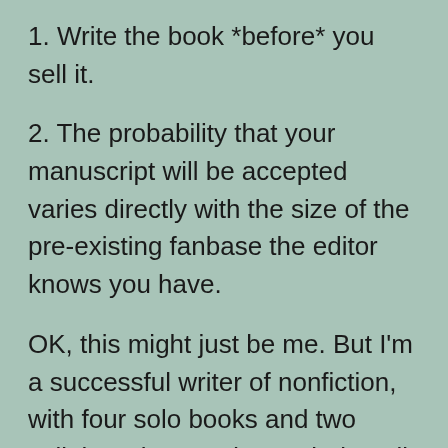1. Write the book *before* you sell it.
2. The probability that your manuscript will be accepted varies directly with the size of the pre-existing fanbase the editor knows you have.
OK, this might just be me. But I'm a successful writer of nonfiction, with four solo books and two collaborations under my belt – all of which have done well. One of the four solo books cracked the NYT bestsellers' list, and all but the very first of the solo books are still in print. So there's reason to believe I've been doing something right.